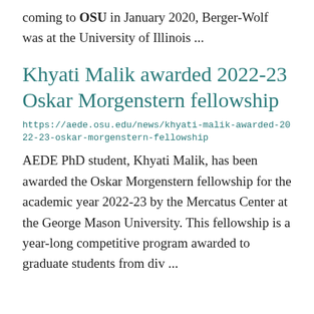coming to OSU in January 2020, Berger-Wolf was at the University of Illinois ...
Khyati Malik awarded 2022-23 Oskar Morgenstern fellowship
https://aede.osu.edu/news/khyati-malik-awarded-2022-23-oskar-morgenstern-fellowship
AEDE PhD student, Khyati Malik, has been awarded the Oskar Morgenstern fellowship for the academic year 2022-23 by the Mercatus Center at the George Mason University. This fellowship is a year-long competitive program awarded to graduate students from div ...